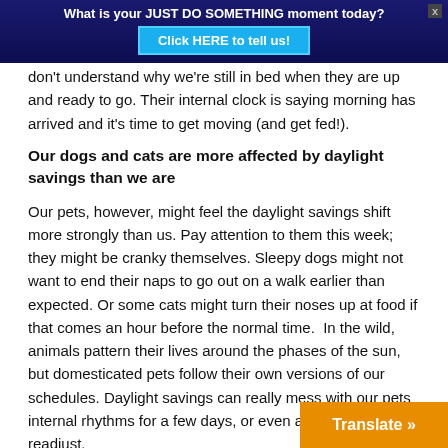What is your JUST DO SOMETHING moment today? Click HERE to tell us!
don't understand why we're still in bed when they are up and ready to go. Their internal clock is saying morning has arrived and it's time to get moving (and get fed!).
Our dogs and cats are more affected by daylight savings than we are
Our pets, however, might feel the daylight savings shift more strongly than us. Pay attention to them this week; they might be cranky themselves. Sleepy dogs might not want to end their naps to go out on a walk earlier than expected. Or some cats might turn their noses up at food if that comes an hour before the normal time.  In the wild, animals pattern their lives around the phases of the sun, but domesticated pets follow their own versions of our schedules. Daylight savings can really mess with our pets internal rhythms for a few days, or even a week, until they readjust.
Try to change their schedule in increments and they will adjust quickly
The good news is most pets will adjust to the time quickly.  A few things you can do to make the trans